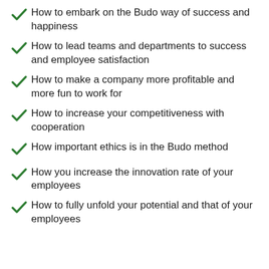How to embark on the Budo way of success and happiness
How to lead teams and departments to success and employee satisfaction
How to make a company more profitable and more fun to work for
How to increase your competitiveness with cooperation
How important ethics is in the Budo method
How you increase the innovation rate of your employees
How to fully unfold your potential and that of your employees